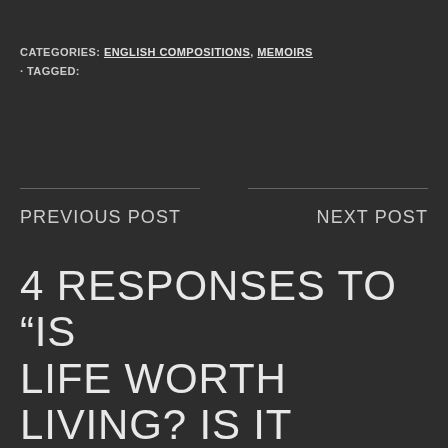CATEGORIES: ENGLISH COMPOSITIONS, MEMOIRS
· TAGGED:
PREVIOUS POST
NEXT POST
4 RESPONSES TO “IS LIFE WORTH LIVING? IS IT